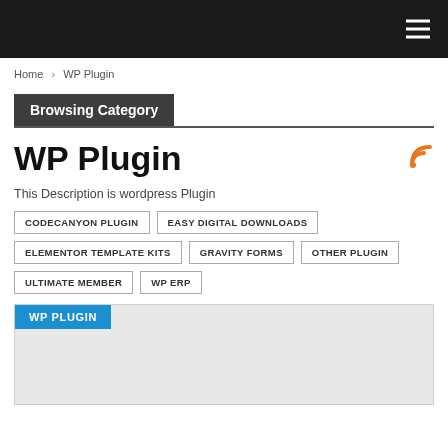Navigation bar with hamburger menu
Home > WP Plugin
Browsing Category
WP Plugin
This Description is wordpress Plugin
CODECANYON PLUGIN
EASY DIGITAL DOWNLOADS
ELEMENTOR TEMPLATE KITS
GRAVITY FORMS
OTHER PLUGIN
ULTIMATE MEMBER
WP ERP
WP PLUGIN